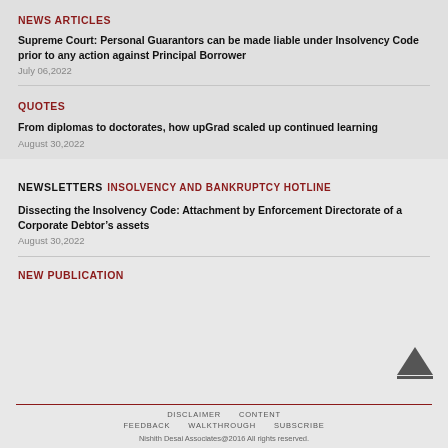NEWS ARTICLES
Supreme Court: Personal Guarantors can be made liable under Insolvency Code prior to any action against Principal Borrower
July 06,2022
QUOTES
From diplomas to doctorates, how upGrad scaled up continued learning
August 30,2022
NEWSLETTERS
INSOLVENCY AND BANKRUPTCY HOTLINE
Dissecting the Insolvency Code: Attachment by Enforcement Directorate of a Corporate Debtor’s assets
August 30,2022
NEW PUBLICATION
DISCLAIMER   CONTENT   FEEDBACK   WALKTHROUGH   SUBSCRIBE
Nishith Desai Associates@2016 All rights reserved.